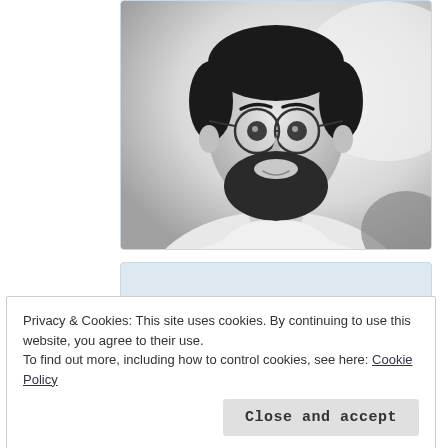[Figure (photo): Black and white portrait photo of a bearded man wearing round glasses, looking at the camera, wearing a light shirt]
Privacy & Cookies: This site uses cookies. By continuing to use this website, you agree to their use.
To find out more, including how to control cookies, see here: Cookie Policy
Close and accept
Reedsy contest and author of several